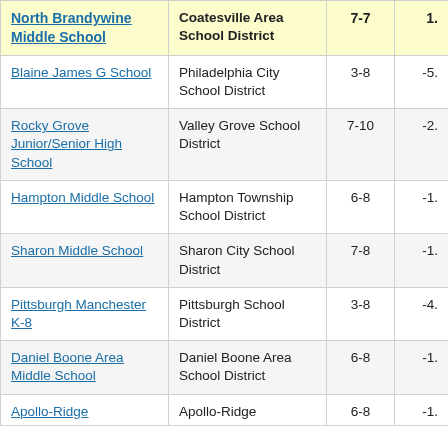| School | District | Grades | Value |
| --- | --- | --- | --- |
| North Brandywine Middle School | Coatesville Area School District | 7-7 | 1. |
| Blaine James G School | Philadelphia City School District | 3-8 | -5. |
| Rocky Grove Junior/Senior High School | Valley Grove School District | 7-10 | -2. |
| Hampton Middle School | Hampton Township School District | 6-8 | -1. |
| Sharon Middle School | Sharon City School District | 7-8 | -1. |
| Pittsburgh Manchester K-8 | Pittsburgh School District | 3-8 | -4. |
| Daniel Boone Area Middle School | Daniel Boone Area School District | 6-8 | -1. |
| Apollo-Ridge ... | Apollo-Ridge ... | 6-8 | -1. |